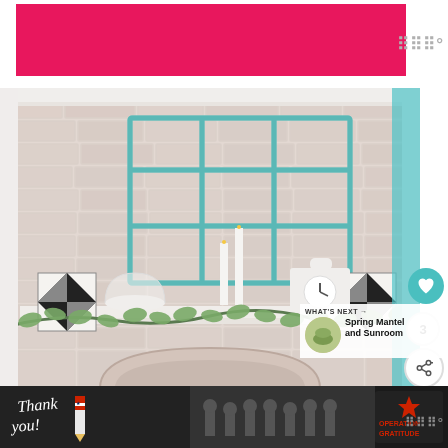[Figure (photo): Pink/hot pink advertisement banner at top of page]
[Figure (photo): Interior home decor photo showing a fireplace mantel with whitewashed brick wall, teal/aqua vintage window frame decoration, white candles, quilt star decorations, antique clock, and eucalyptus garland draped on mantel]
WHAT'S NEXT →
Spring Mantel and Sunroom
[Figure (photo): Bottom advertisement bar: dark background with 'Thank you!' handwritten text with an American flag pencil, photo of firefighters, and Operation Gratitude logo]